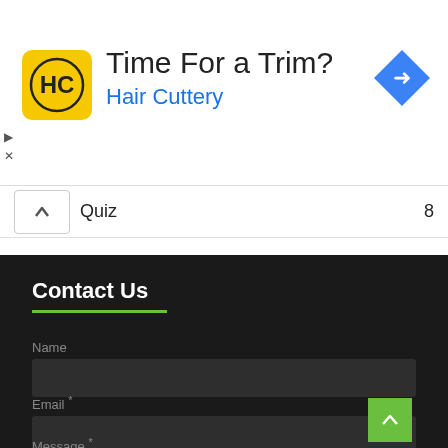[Figure (screenshot): Advertisement banner for Hair Cuttery with yellow logo, text 'Time For a Trim?' and blue navigation diamond icon]
Time For a Trim?
Hair Cuttery
Quiz  8
Contact Us
Name
Email *
Message *